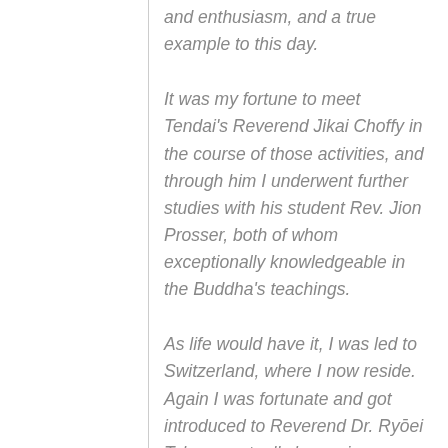and enthusiasm, and a true example to this day.
It was my fortune to meet Tendai's Reverend Jikai Choffy in the course of those activities, and through him I underwent further studies with his student Rev. Jion Prosser, both of whom exceptionally knowledgeable in the Buddha's teachings.
As life would have it, I was led to Switzerland, where I now reside. Again I was fortunate and got introduced to Reverend Dr. Ryōei Tyler, eventually becoming a founding first Buddhist…